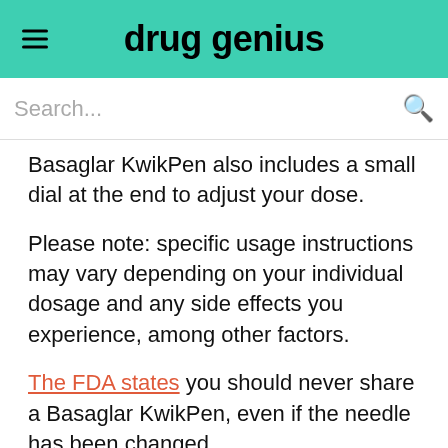drug genius
Basaglar KwikPen also includes a small dial at the end to adjust your dose.
Please note: specific usage instructions may vary depending on your individual dosage and any side effects you experience, among other factors.
The FDA states you should never share a Basaglar KwikPen, even if the needle has been changed.